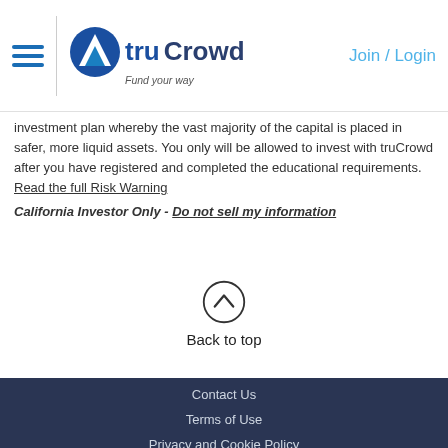truCrowd - Fund your way | Join / Login
investment plan whereby the vast majority of the capital is placed in safer, more liquid assets. You only will be allowed to invest with truCrowd after you have registered and completed the educational requirements. Read the full Risk Warning
California Investor Only - Do not sell my information
[Figure (other): Back to top button with upward chevron arrow in a circle]
Contact Us | Terms of Use | Privacy and Cookie Policy | FAQ | Risk Warning